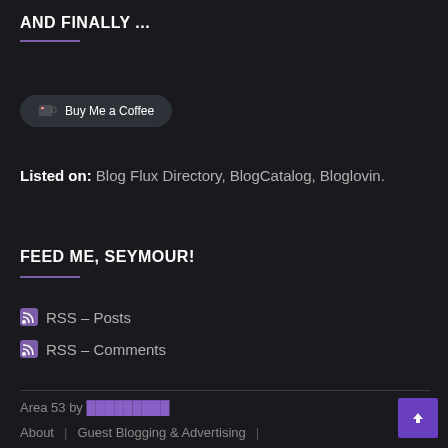AND FINALLY ...
[Figure (other): Buy Me a Coffee button with heart/coffee cup icon]
Listed on: Blog Flux Directory, BlogCatalog, Bloglovin.
FEED ME, SEYMOUR!
RSS – Posts
RSS – Comments
Area 53 by [purple link] | About | Guest Blogging & Advertising |